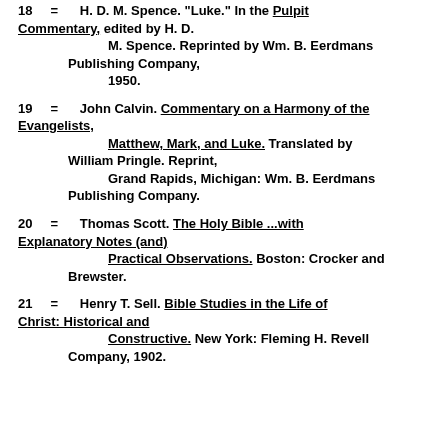18 = H. D. M. Spence. "Luke." In the Pulpit Commentary, edited by H. D. M. Spence. Reprinted by Wm. B. Eerdmans Publishing Company, 1950.
19 = John Calvin. Commentary on a Harmony of the Evangelists, Matthew, Mark, and Luke. Translated by William Pringle. Reprint, Grand Rapids, Michigan: Wm. B. Eerdmans Publishing Company.
20 = Thomas Scott. The Holy Bible ...with Explanatory Notes (and) Practical Observations. Boston: Crocker and Brewster.
21 = Henry T. Sell. Bible Studies in the Life of Christ: Historical and Constructive. New York: Fleming H. Revell Company, 1902.